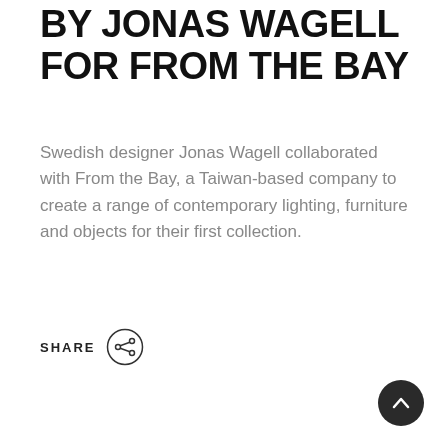BY JONAS WAGELL FOR FROM THE BAY
Swedish designer Jonas Wagell collaborated with From the Bay, a Taiwan-based company to create a range of contemporary lighting, furniture and objects for their first collection.
[Figure (other): Share button with a circular share icon next to the word SHARE]